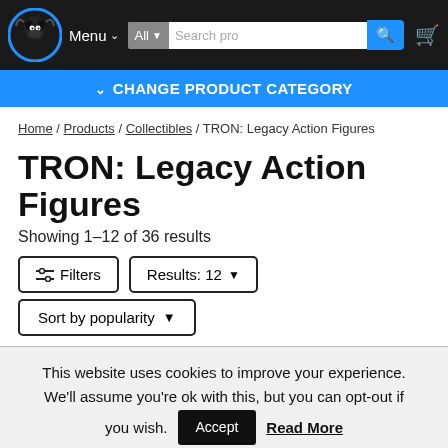Menu | All | Search products | Cart
CHANGE PRODUCT CATEGORY
Home / Products / Collectibles / TRON: Legacy Action Figures
TRON: Legacy Action Figures
Showing 1–12 of 36 results
Filters | Results: 12 | Sort by popularity
This website uses cookies to improve your experience. We'll assume you're ok with this, but you can opt-out if you wish. Accept | Read More